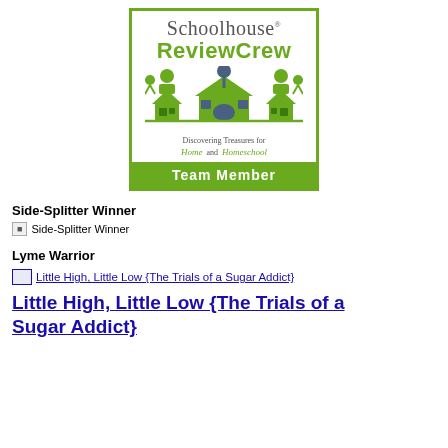[Figure (logo): Schoolhouse Review Crew Team Member badge/logo. Green and grey bordered box with 'Schoolhouse' in grey serif font, 'ReviewCrew' in green bold font, illustrated green houses with figures, text 'Discovering Treasures for Home and Homeschool', green bar at bottom reading 'Team Member'.]
Side-Splitter Winner
[Figure (other): Broken/missing image placeholder labeled 'Side-Splitter Winner']
Lyme Warrior
[Figure (other): Broken/missing image placeholder with link text 'Little High, Little Low {The Trials of a Sugar Addict}']
Little High, Little Low {The Trials of a Sugar Addict}